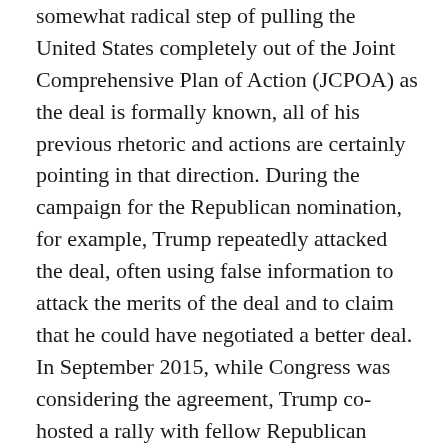somewhat radical step of pulling the United States completely out of the Joint Comprehensive Plan of Action (JCPOA) as the deal is formally known, all of his previous rhetoric and actions are certainly pointing in that direction. During the campaign for the Republican nomination, for example, Trump repeatedly attacked the deal, often using false information to attack the merits of the deal and to claim that he could have negotiated a better deal. In September 2015, while Congress was considering the agreement, Trump co-hosted a rally with fellow Republican candidate for President Ted Cruz seeking to rally support against the agreement. In the end, of course, that effort failed and the deal went into effect, but that didn't stop Trump from continuing to criticize the deal during the primary and the general election.
Once he became President, Trump's disdain for the deal